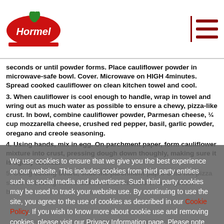[Figure (logo): Hormel logo — red oval with white Hormel text and green leaf, red banner below]
seconds or until powder forms. Place cauliflower powder in microwave-safe bowl. Cover. Microwave on HIGH 4minutes. Spread cooked cauliflower on clean kitchen towel and cool.
3. When cauliflower is cool enough to handle, wrap in towel and wring out as much water as possible to ensure a chewy, pizza-like crust. In bowl, combine cauliflower powder, Parmesan cheese, ¼ cup mozzarella cheese, crushed red pepper, basil, garlic powder, oregano and creole seasoning.
4. Using hands, mix in egg. On parchment paper, form cauliflower mixture into crust, pressing dough down thoughly, making sure it is tightly formed.
5. Using cutting board, slide the parchment paper onto hot pizza stone or baking sheet. Bake 8 to 11 minutes or until golden brown.
We use cookies to ensure that we give you the best experience on our website. This includes cookies from third party entities such as social media and advertisers. Such third party cookies may be used to track your website use. By continuing to use the site, you agree to the use of cookies as described in our Cookie Policy. If you wish to know more about cookie use and removing cookies, please visit our Privacy Information page. Please note that parts of this site may not function correctly if you disable all cookies.